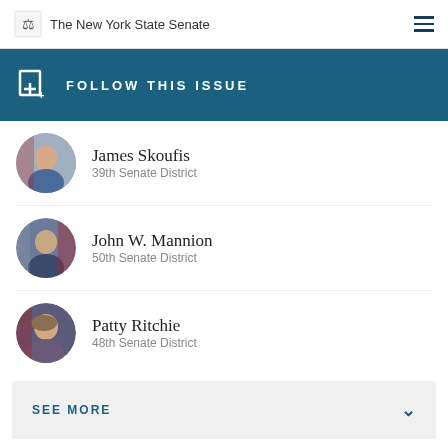The New York State Senate
FOLLOW THIS ISSUE
James Skoufis
39th Senate District
John W. Mannion
50th Senate District
Patty Ritchie
48th Senate District
SEE MORE
CHIPS Updates